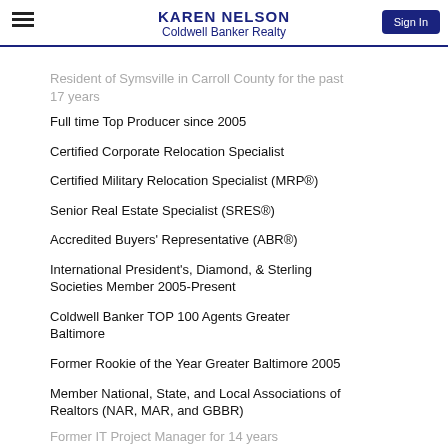KAREN NELSON
Coldwell Banker Realty
Resident of Symsville in Carroll County for the past 17 years
Full time Top Producer since 2005
Certified Corporate Relocation Specialist
Certified Military Relocation Specialist (MRP®)
Senior Real Estate Specialist (SRES®)
Accredited Buyers' Representative (ABR®)
International President's, Diamond, & Sterling Societies Member 2005-Present
Coldwell Banker TOP 100 Agents Greater Baltimore
Former Rookie of the Year Greater Baltimore 2005
Member National, State, and Local Associations of Realtors (NAR, MAR, and GBBR)
Former IT Project Manager for 14 years